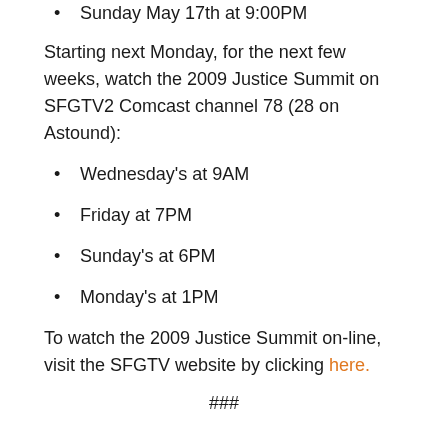Sunday May 17th at 9:00PM
Starting next Monday, for the next few weeks, watch the 2009 Justice Summit on SFGTV2 Comcast channel 78 (28 on Astound):
Wednesday's at 9AM
Friday at 7PM
Sunday's at 6PM
Monday's at 1PM
To watch the 2009 Justice Summit on-line, visit the SFGTV website by clicking here.
###